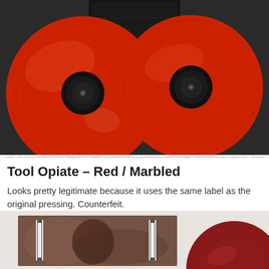[Figure (photo): Two red/marbled vinyl records side by side with black center labels, placed against a dark background with album cover sleeve visible between them]
GS3e627hh3JOL4dP+P15a1228JJ91E17996ga29542L2J9MHME5I31226682J9S+4E0E09JgA99M0bMbS1239E60JJ322b8BE7I7855362hh3J0L8aP+P15a88JJ9E17TRki8835320E
Tool Opiate – Red / Marbled
Looks pretty legitimate because it uses the same label as the original pressing. Counterfeit.
[Figure (photo): Partial view of another vinyl record setup showing album cover with vintage/brown tones and a dark red vinyl record on the right side, partially cropped at bottom of page]